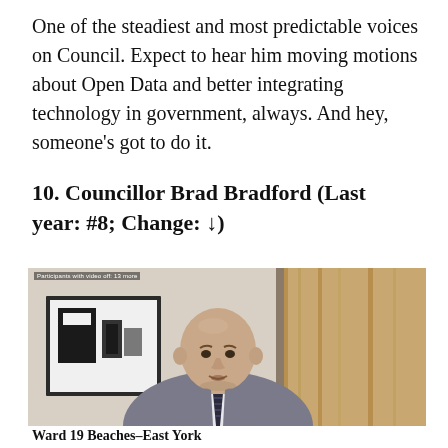One of the steadiest and most predictable voices on Council. Expect to hear him moving motions about Open Data and better integrating technology in government, always. And hey, someone's got to do it.
10. Councillor Brad Bradford (Last year: #8; Change: ↓)
[Figure (photo): Video call screenshot of a bald man in a grey suit and striped tie, speaking, with a framed abstract artwork and wooden panel visible in the background. A small banner at the top left reads 'Participants with video off: 13 more'.]
Ward 19 Beaches-East York